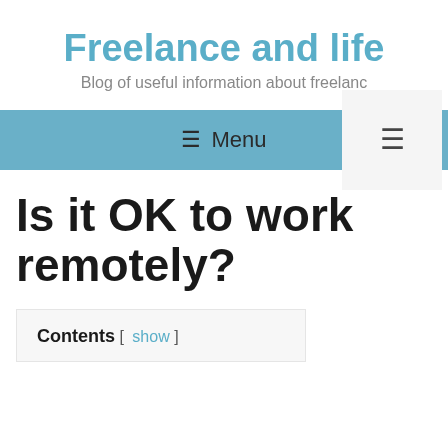Freelance and life
Blog of useful information about freelance
≡ Menu
Is it OK to work remotely?
Contents [ show ]